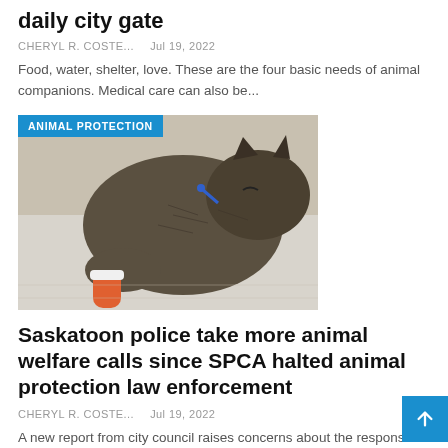daily city gate
CHERYL R. COSTE...   Jul 19, 2022
Food, water, shelter, love. These are the four basic needs of animal companions. Medical care can also be...
[Figure (photo): A tabby cat curled up on a white blanket with an IV line and bandaged leg (medical treatment). Badge overlay reads 'ANIMAL PROTECTION'.]
Saskatoon police take more animal welfare calls since SPCA halted animal protection law enforcement
CHERYL R. COSTE...   Jul 19, 2022
A new report from city council raises concerns about the response to animal cruelty complaints in Saskatoon. The Department of Agriculture has appointed a non-profit agency called Animal Protection Services Saskatchewan (APSS) to enforce...